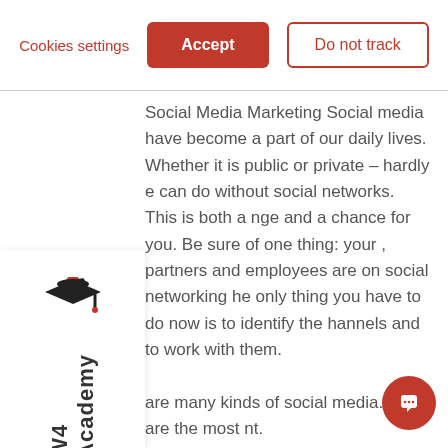Cookies settings | Accept | Do not track
Social Media Marketing Social media have become a part of our daily lives. Whether it is public or private – hardly anyone can do without social networks. This is both a challenge and a chance for you. Be sure of one thing: your clients, partners and employees are on social networking sites. The only thing you have to do now is to identify the right channels and to work with them.
There are many kinds of social media. Here are the most important.
[Figure (logo): W4 Academy logo with graduation cap icon and vertical text 'W4 Academy']